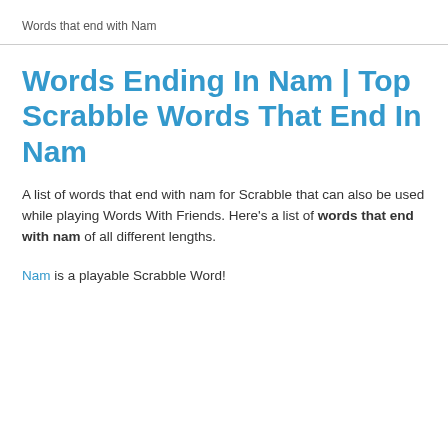Words that end with Nam
Words Ending In Nam | Top Scrabble Words That End In Nam
A list of words that end with nam for Scrabble that can also be used while playing Words With Friends. Here's a list of words that end with nam of all different lengths.
Nam is a playable Scrabble Word!